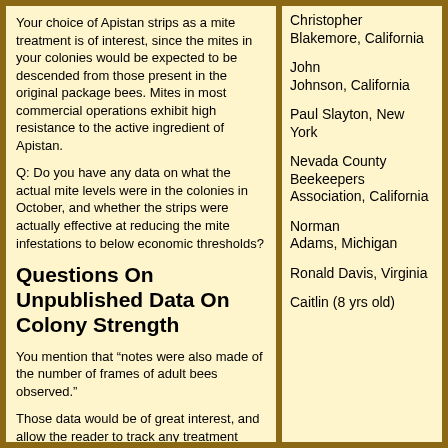Your choice of Apistan strips as a mite treatment is of interest, since the mites in your colonies would be expected to be descended from those present in the original package bees.  Mites in most commercial operations exhibit high resistance to the active ingredient of Apistan.
Q: Do you have any data on what the actual mite levels were in the colonies in October, and whether the strips were actually effective at reducing the mite infestations to below economic thresholds?
Questions On Unpublished Data On Colony Strength
You mention that “notes were also made of the number of frames of adult bees observed.”
Those data would be of great interest, and allow the reader to track any treatment effects upon the colony size over time.  Unfortunately, the results are not included in the paper.  All the treated colonies survived for at least three months after treatments were completed.  I’m curious as to when adverse effects due to
Christopher Blakemore, California
John Johnson, California
Paul Slayton, New York
Nevada County Beekeepers Association, California
Norman Adams, Michigan
Ronald Davis, Virginia
Caitlin (8 yrs old)